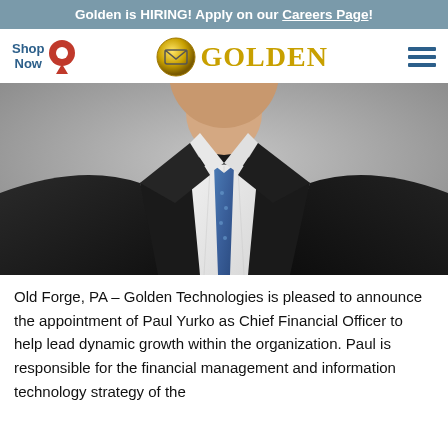Golden is HIRING! Apply on our Careers Page!
[Figure (logo): Golden Technologies logo with golden globe icon and GOLDEN text in gold letters]
[Figure (photo): Professional headshot of Paul Yurko, a man in a dark suit and blue tie, cropped to show neck and chest area]
Old Forge, PA – Golden Technologies is pleased to announce the appointment of Paul Yurko as Chief Financial Officer to help lead dynamic growth within the organization. Paul is responsible for the financial management and information technology strategy of the